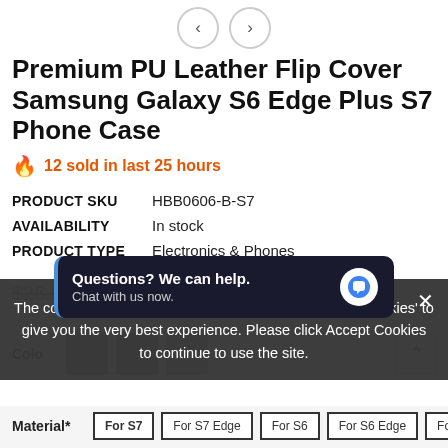[Figure (other): Navigation arrows (previous/next) at the top of the product page]
Premium PU Leather Flip Cover Samsung Galaxy S6 Edge Plus S7 Phone Case
🔥 12 sold in last 25 hours
| Field | Value |
| --- | --- |
| PRODUCT SKU | HBB0606-B-S7 |
| AVAILABILITY | In stock |
| PRODUCT TYPE | Electronics & Phones |
$26.99  $13.99
The cookie settings on this website are set to 'allow all cookies' to give you the very best experience. Please click Accept Cookies to continue to use the site.
Questions? We can help. Chat with us now.